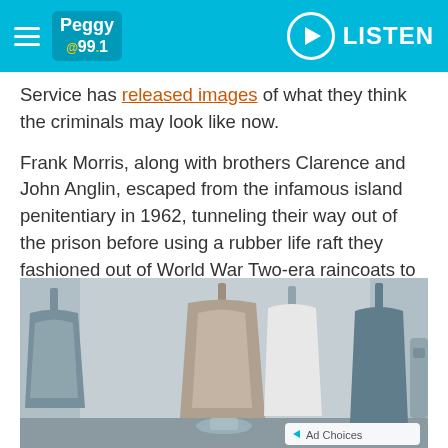Peggy @99.1 — LISTEN
Service has released images of what they think the criminals may look like now.
Frank Morris, along with brothers Clarence and John Anglin, escaped from the infamous island penitentiary in 1962, tunneling their way out of the prison before using a rubber life raft they fashioned out of World War Two-era raincoats to sail away.
Guards investigating the escape at the time found dummy heads fashioned out of plaster, skin-toned paint and real human hair in the men's beds.
[Figure (photo): Interior of a prison cell showing hanging clothes/garments on hooks or hangers against a wall]